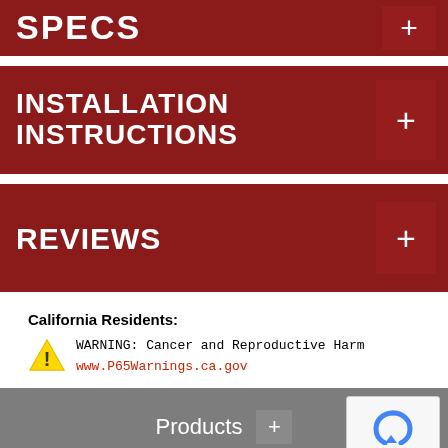SPECS
INSTALLATION INSTRUCTIONS
REVIEWS
California Residents:
WARNING: Cancer and Reproductive Harm
www.P65Warnings.ca.gov
Products
Resources